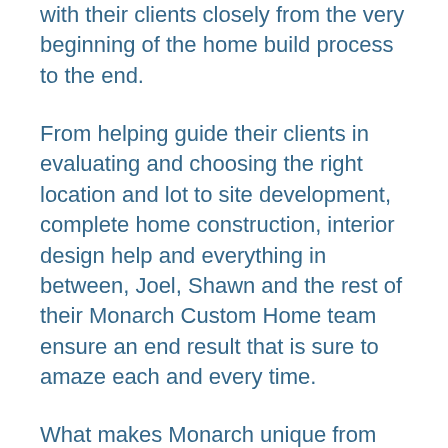with their clients closely from the very beginning of the home build process to the end.
From helping guide their clients in evaluating and choosing the right location and lot to site development, complete home construction, interior design help and everything in between, Joel, Shawn and the rest of their Monarch Custom Home team ensure an end result that is sure to amaze each and every time.
What makes Monarch unique from other similar businesses is that they are a small builder, building approximately 14 homes per year. “We really spend our time to make